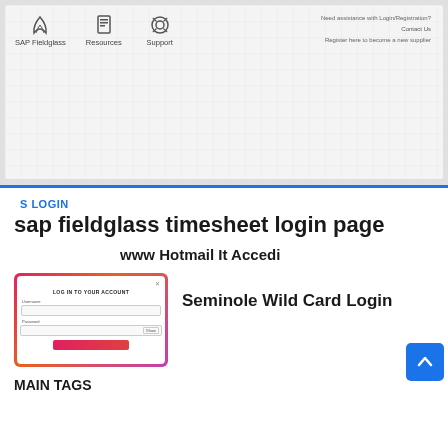[Figure (screenshot): SAP Fieldglass website navigation bar screenshot showing SAP Fieldglass, Resources, Support icons and links for Login/Registration assistance, Contact Us, and Register as new supplier on a light grey grid background with blue bottom border.]
S LOGIN
sap fieldglass timesheet login page
www Hotmail It Accedi
[Figure (screenshot): Login card UI with gradient pink/orange border showing 'LOG IN TO YOUR ACCOUNT' form with username and password fields and a red login button.]
Seminole Wild Card Login
MAIN TAGS